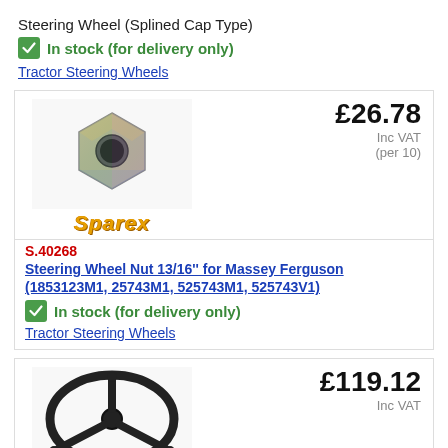Steering Wheel (Splined Cap Type)
In stock (for delivery only)
Tractor Steering Wheels
[Figure (photo): Photo of a zinc-plated hex nut, with Sparex brand logo below]
£26.78 Inc VAT (per 10)
S.40268
Steering Wheel Nut 13/16'' for Massey Ferguson (1853123M1, 25743M1, 525743M1, 525743V1)
In stock (for delivery only)
Tractor Steering Wheels
[Figure (photo): Photo of a black tractor steering wheel (oval shape with Y-spoke), with Sparex brand logo below]
£119.12 Inc VAT